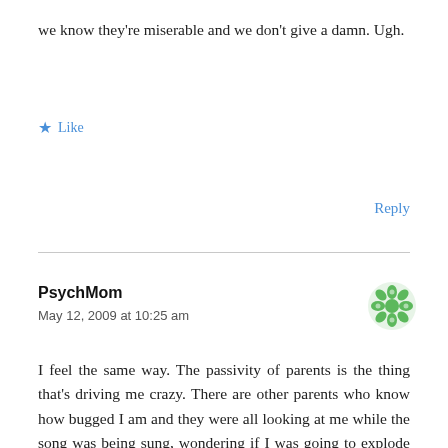we know they're miserable and we don't give a damn. Ugh.
★ Like
Reply
PsychMom
May 12, 2009 at 10:25 am
[Figure (illustration): Green decorative avatar icon]
I feel the same way. The passivity of parents is the thing that's driving me crazy. There are other parents who know how bugged I am and they were all looking at me while the song was being sung, wondering if I was going to explode or what.
The old wisdom is that you shouldn't scream until you